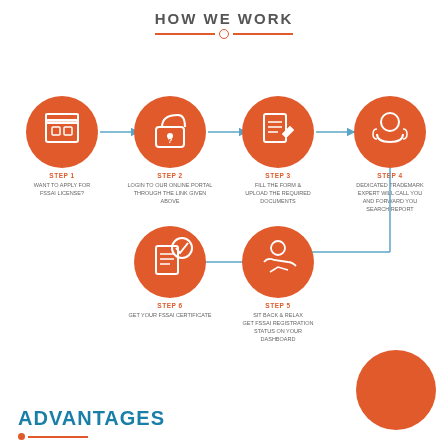HOW WE WORK
[Figure (flowchart): 6-step process flowchart showing how FSSAI license application works. Step 1: Want to apply for FSSAI license? Step 2: Login to our online portal through the link given above. Step 3: Fill the form & upload the required documents. Step 4: Dedicated trademark expert will call you and forward you search report. Step 5: Sit back & relax - Get FSSAI registration status on your dashboard. Step 6: Get your FSSAI certificate.]
ADVANTAGES